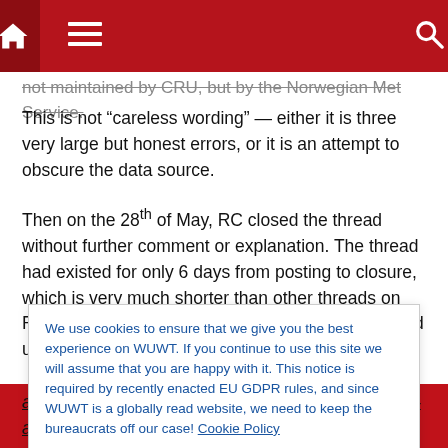Navigation bar with home, menu, and search icons
not maintained by CRU, but by the Norwegian Met Service.
This is not “careless wording” — either it is three very large but honest errors, or it is an attempt to obscure the data source.
Then on the 28th of May, RC closed the thread without further comment or explanation. The thread had existed for only 6 days from posting to closure, which is very much shorter than other threads on RC. A number of very important questions remained unresolved. By censoring
We use cookies to ensure that we give you the best experience on WUWT. If you continue to use this site we will assume that you are happy with it. This notice is required by recently enacted EU GDPR rules, and since WUWT is a globally read website, we need to keep the bureaucrats off our case! Cookie Policy
although Mann & Jones were unwilling to reveal it – and